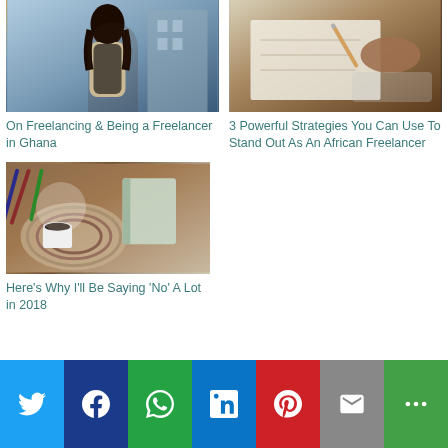[Figure (photo): Woman walking outside a building, smiling, carrying a bag]
On Freelancing & Being a Freelancer in Ghana
[Figure (photo): Hands writing or drawing with a pencil on paper]
3 Powerful Strategies You Can Use To Stand Out As An African Freelancer
[Figure (photo): Desk flat lay with coffee cup, notebooks, and pencils]
Here's Why I'll Be Saying 'No' A Lot in 2018
Twitter | Facebook | WhatsApp | LinkedIn | Pinterest | Email | More